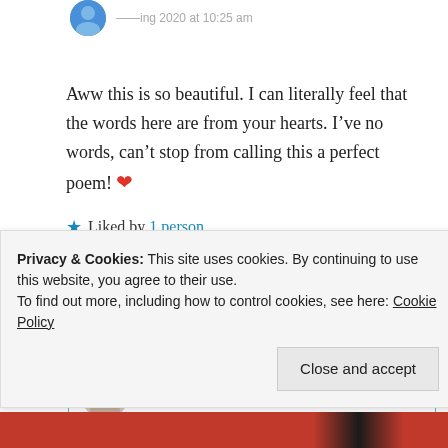Aww this is so beautiful. I can literally feel that the words here are from your hearts. I’ve no words, can’t stop from calling this a perfect poem! ❤️
★ Liked by 1 person
Log in to Reply
Suma Reddy
Privacy & Cookies: This site uses cookies. By continuing to use this website, you agree to their use.
To find out more, including how to control cookies, see here: Cookie Policy
Close and accept